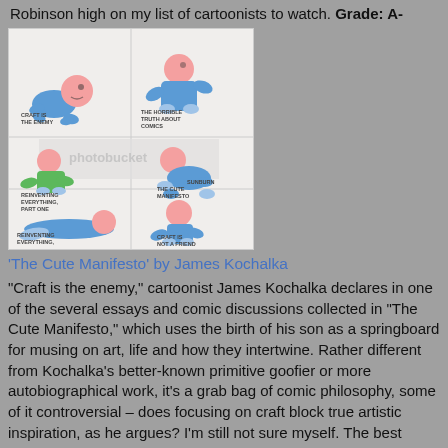Robinson high on my list of cartoonists to watch. Grade: A-
[Figure (illustration): A grid of cartoon baby illustrations from 'The Cute Manifesto' by James Kochalka, showing a baby in various poses with small comic-style titles: 'The Horrible Truth About Comics', 'Craft Is The Enemy', 'The Cute Manifesto', 'Sunburn', 'Reinventing Everything, Part One', 'Reinventing Everything, Part Two', 'Craft Is Not A Friend'. A Photobucket watermark is partially visible.]
'The Cute Manifesto' by James Kochalka
"Craft is the enemy," cartoonist James Kochalka declares in one of the several essays and comic discussions collected in "The Cute Manifesto," which uses the birth of his son as a springboard for musing on art, life and how they intertwine. Rather different from Kochalka's better-known primitive goofier or more autobiographical work, it's a grab bag of comic philosophy, some of it controversial – does focusing on craft block true artistic inspiration, as he argues? I'm still not sure myself. The best pieces combine Kochalka's life-